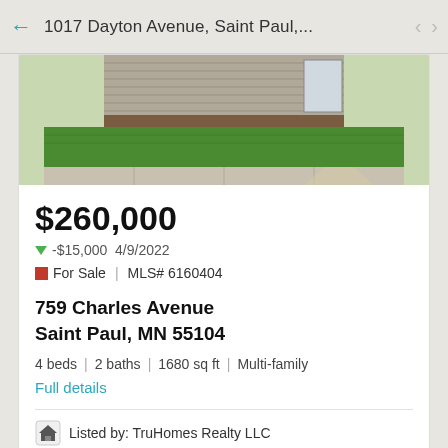1017 Dayton Avenue, Saint Paul,...
[Figure (photo): Exterior photo of a house showing green lawn in front, beige/tan horizontal siding, and a sidewalk. Bottom portion of the house visible.]
$260,000
-$15,000  4/9/2022
For Sale  |  MLS# 6160404
759 Charles Avenue
Saint Paul, MN 55104
4 beds  |  2 baths  |  1680 sq ft  |  Multi-family
Full details
Listed by: TruHomes Realty LLC